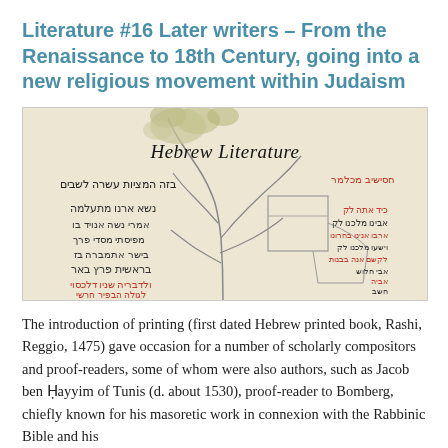Literature #16 Later writers – From the Renaissance to 18th Century, going into a new religious movement within Judaism
[Figure (illustration): An illustration of a Hebrew literature manuscript page showing a decorative tree with Hebrew text in black and red ink. The title 'Hebrew Literature' appears in cursive script at the top center. Hebrew/Aramaic text columns appear on the left and right sides of the tree drawing.]
The introduction of printing (first dated Hebrew printed book, Rashi, Reggio, 1475) gave occasion for a number of scholarly compositors and proof-readers, some of whom were also authors, such as Jacob ben Ḥayyim of Tunis (d. about 1530), proof-reader to Bomberg, chiefly known for his masoretic work in connexion with the Rabbinic Bible and his